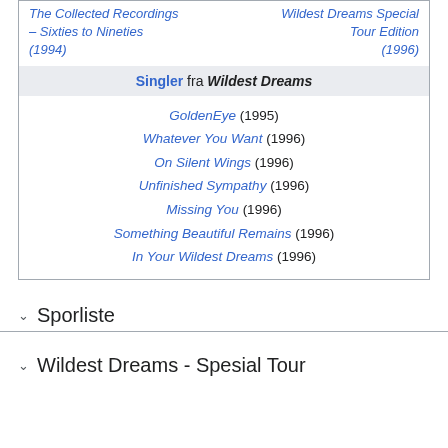| The Collected Recordings – Sixties to Nineties (1994) |  | Wildest Dreams Special Tour Edition (1996) |
Singler fra Wildest Dreams
GoldenEye (1995)
Whatever You Want (1996)
On Silent Wings (1996)
Unfinished Sympathy (1996)
Missing You (1996)
Something Beautiful Remains (1996)
In Your Wildest Dreams (1996)
Sporliste
Wildest Dreams - Spesial Tour